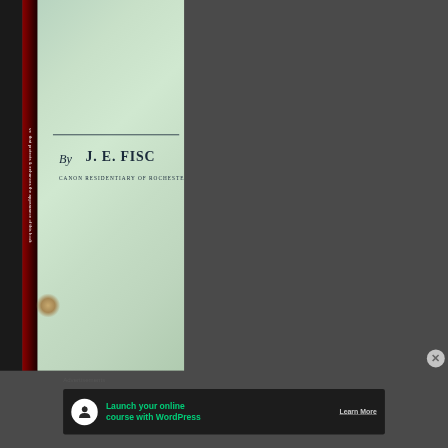[Figure (photo): Photograph of a book cover showing the lower portion of a book with a light green/mint cover. Text visible reads 'By J. E. FISC' (partially cropped) and 'CANON RESIDENTIARY OF ROCHESTE' (partially cropped). There is a horizontal decorative line above the author credit. The spine on the left shows partial text rotated 90 degrees reading 've that protects & enhances the appearance of this book'. The lower left corner of the book shows wear damage. The book rests on a dark surface.]
Advertisements
[Figure (screenshot): Advertisement banner with dark background featuring a tree/person icon in white circle, green text reading 'Launch your online course with WordPress', and a 'Learn More' button in white text.]